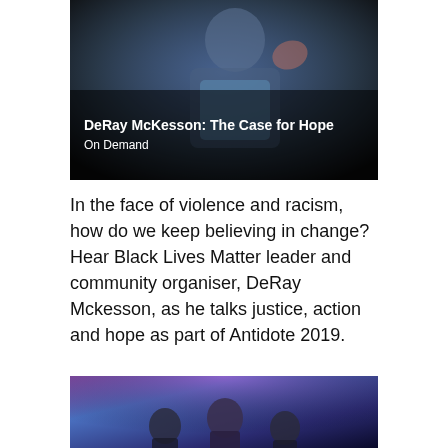[Figure (photo): A person in a blue vest with arms gesturing, dark background. Text overlay reads 'DeRay McKesson: The Case for Hope' and 'On Demand'.]
DeRay McKesson: The Case for Hope
On Demand
In the face of violence and racism, how do we keep believing in change? Hear Black Lives Matter leader and community organiser, DeRay Mckesson, as he talks justice, action and hope as part of Antidote 2019.
WATCH VIDEO
[Figure (photo): Three people on a stage with colorful purple and blue lighting behind them.]